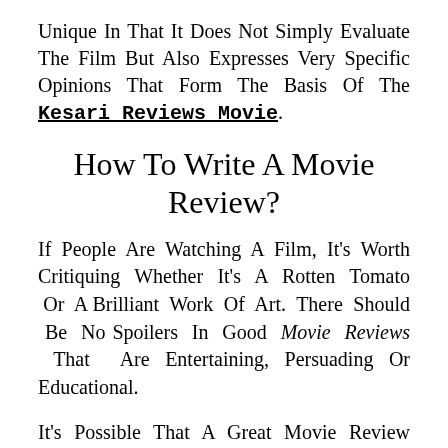Unique In That It Does Not Simply Evaluate The Film But Also Expresses Very Specific Opinions That Form The Basis Of The Kesari Reviews Movie.
How To Write A Movie Review?
If People Are Watching A Film, It's Worth Critiquing Whether It's A Rotten Tomato Or A Brilliant Work Of Art. There Should Be No Spoilers In Good Movie Reviews That Are Entertaining, Persuading Or Educational.
It's Possible That A Great Movie Review Can Stand Alone As A Work Of Art. Learn How To Write A Movie Review That Is As Entertaining As